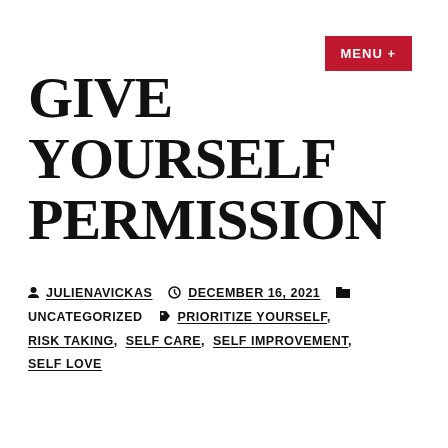MENU +
GIVE YOURSELF PERMISSION
JULIENAVICKAS  DECEMBER 16, 2021  UNCATEGORIZED  PRIORITIZE YOURSELF, RISK TAKING, SELF CARE, SELF IMPROVEMENT, SELF LOVE